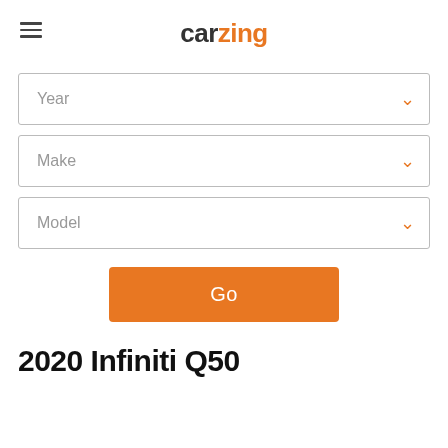carzing
Year
Make
Model
Go
2020 Infiniti Q50